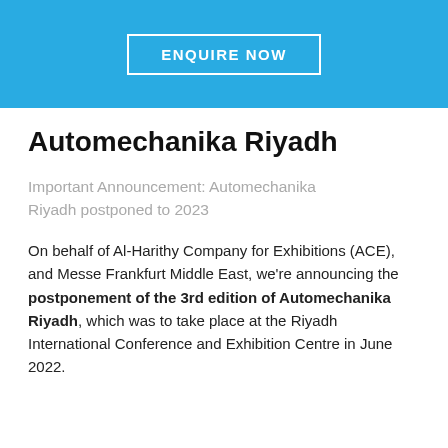[Figure (other): Blue banner with white-bordered button reading ENQUIRE NOW]
Automechanika Riyadh
Important Announcement: Automechanika Riyadh postponed to 2023
On behalf of Al-Harithy Company for Exhibitions (ACE), and Messe Frankfurt Middle East, we're announcing the postponement of the 3rd edition of Automechanika Riyadh, which was to take place at the Riyadh International Conference and Exhibition Centre in June 2022.